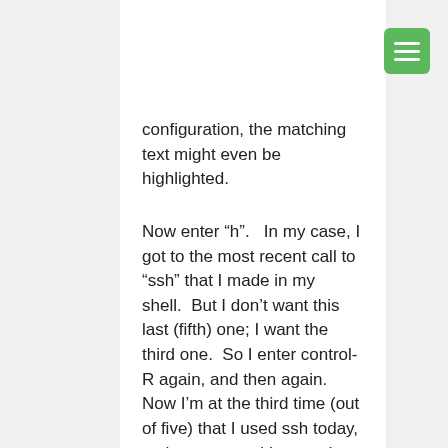configuration, the matching text might even be highlighted.
Now enter “h”.   In my case, I got to the most recent call to “ssh” that I made in my shell.  But I don’t want this last (fifth) one; I want the third one.  So I enter control-R again, and then again.  Now I’m at the third time (out of five) that I used ssh today, at the command I want.  I press “enter”, and I’ve now executed the command.
While searching backward, if you miss something because you hit control-R one too many times, you can use control-S to